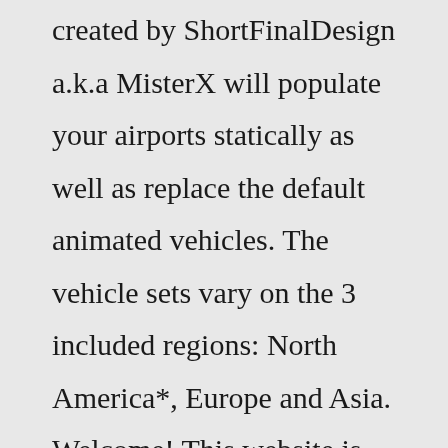created by ShortFinalDesign a.k.a MisterX will populate your airports statically as well as replace the default animated vehicles. The vehicle sets vary on the 3 included regions: North America*, Europe and Asia. Welcome! This website is the place where I share my X-Plane creations. It's all made by an aviation enthusiast, for enthusiasts, to the best of my ability, for free. Thanks in advance to those of you who will support this project with a symbolic donation. Mar